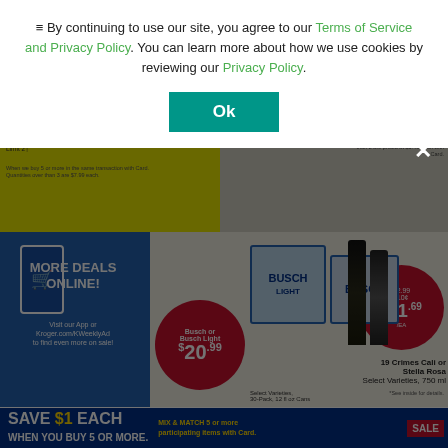[Figure (screenshot): Kroger grocery store weekly ad flyer showing deals on Coca-Cola (3/$12.88), Doritos ($2.99), Busch/Busch Light beer ($20.99), 19 Crimes/Stella Rosa wine ($11.69), and a Save $1 Each promotion banner at bottom. Background is partially obscured by a cookie consent overlay dialog.]
By continuing to use our site, you agree to our Terms of Service and Privacy Policy. You can learn more about how we use cookies by reviewing our Privacy Policy.
Ok